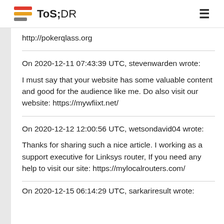ToS;DR
http://pokerqlass.org
On 2020-12-11 07:43:39 UTC, stevenwarden wrote:
I must say that your website has some valuable content and good for the audience like me. Do also visit our website: https://mywfiixt.net/
On 2020-12-12 12:00:56 UTC, wetsondavid04 wrote:
Thanks for sharing such a nice article. I working as a support executive for Linksys router, If you need any help to visit our site: https://mylocalrouters.com/
On 2020-12-15 06:14:29 UTC, sarkariresult wrote: